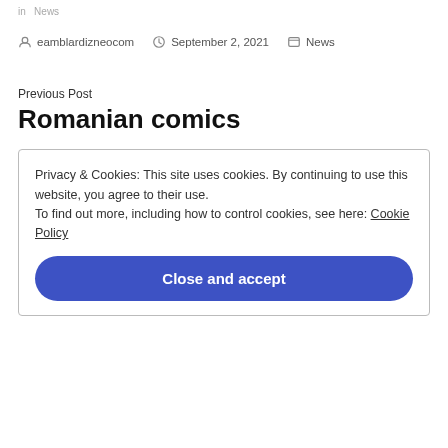in  News
eamblardizneocom  September 2, 2021  News
Previous Post
Romanian comics
Privacy & Cookies: This site uses cookies. By continuing to use this website, you agree to their use.
To find out more, including how to control cookies, see here: Cookie Policy
Close and accept